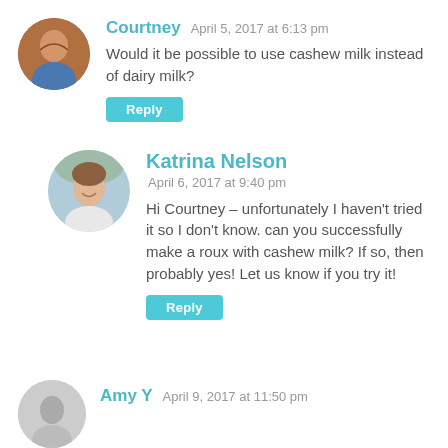Courtney  April 5, 2017 at 6:13 pm
Would it be possible to use cashew milk instead of dairy milk?
Reply
Katrina Nelson
April 6, 2017 at 9:40 pm
Hi Courtney – unfortunately I haven't tried it so I don't know. can you successfully make a roux with cashew milk? If so, then probably yes! Let us know if you try it!
Reply
Amy Y  April 9, 2017 at 11:50 pm